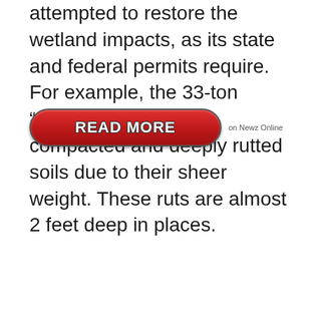attempted to restore the wetland impacts, as its state and federal permits require. For example, the 33-ton “vibroseis” vehicles compacted and deeply rutted soils due to their sheer weight. These ruts are almost 2 feet deep in places.
[Figure (other): A red rounded button labeled 'READ MORE' with text 'on Newz Online' to the right]